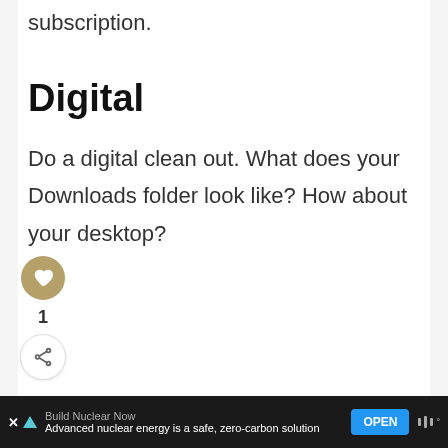subscription.
Digital
Do a digital clean out. What does your Downloads folder look like? How about your desktop?
Build Nuclear Now — Advanced nuclear energy is a safe, zero-carbon solution — OPEN